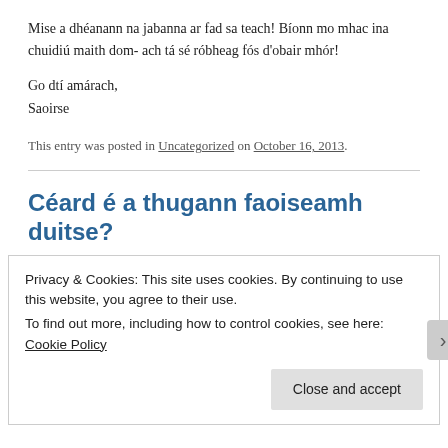Mise a dhéanann na jabanna ar fad sa teach! Bíonn mo mhac ina chuidiú maith dom- ach tá sé róbheag fós d'obair mhór!
Go dtí amárach,
Saoirse
This entry was posted in Uncategorized on October 16, 2013.
Céard é a thugann faoiseamh duitse?
Privacy & Cookies: This site uses cookies. By continuing to use this website, you agree to their use.
To find out more, including how to control cookies, see here: Cookie Policy